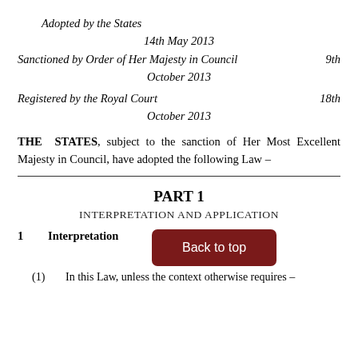Adopted by the States
14th May 2013
Sanctioned by Order of Her Majesty in Council   9th October 2013
Registered by the Royal Court   18th October 2013
THE STATES, subject to the sanction of Her Most Excellent Majesty in Council, have adopted the following Law –
PART 1
INTERPRETATION AND APPLICATION
1   Interpretation   Back to top
(1)   In this Law, unless the context otherwise requires –